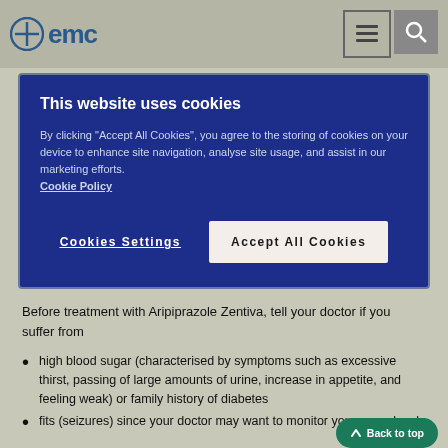emc
This website uses cookies

By clicking "Accept All Cookies", you agree to the storing of cookies on your device to enhance site navigation, analyse site usage, and assist in our marketing efforts. Cookie Policy

Cookies Settings   Accept All Cookies
Before treatment with Aripiprazole Zentiva, tell your doctor if you suffer from
high blood sugar (characterised by symptoms such as excessive thirst, passing of large amounts of urine, increase in appetite, and feeling weak) or family history of diabetes
fits (seizures) since your doctor may want to monitor you more closely
involuntary, irregular muscle movements, especially in the face
cardiovascular diseases (diseases of the heart and family history of cardiovascular disease, stroke or "mini" stroke,